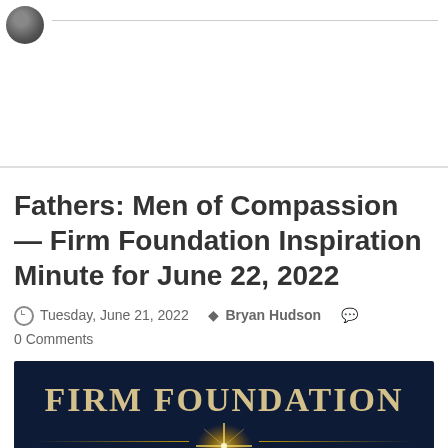[Figure (photo): Small circular avatar/profile photo of a person, gray tones, at top left]
Fathers: Men of Compassion — Firm Foundation Inspiration Minute for June 22, 2022
Tuesday, June 21, 2022  Bryan Hudson  0 Comments
[Figure (logo): Firm Foundation banner image with dark navy background, gold serif text reading FIRM FOUNDATION, a starburst/flare graphic in gold, and horizontal gold lines flanking the star]